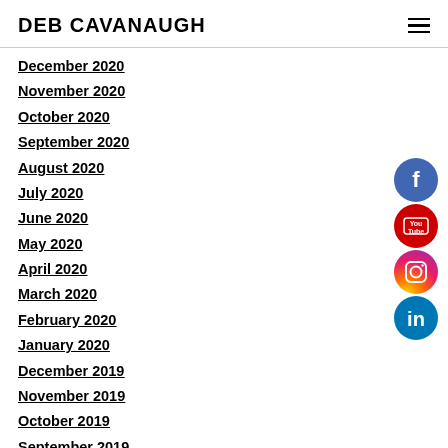DEB CAVANAUGH
December 2020
November 2020
October 2020
September 2020
August 2020
July 2020
June 2020
May 2020
April 2020
March 2020
February 2020
January 2020
December 2019
November 2019
October 2019
September 2019
[Figure (illustration): Social media icons: Facebook (blue circle with f), YouTube (red circle with You/Tube), Instagram (pink/gradient circle with camera), LinkedIn (blue circle with in)]